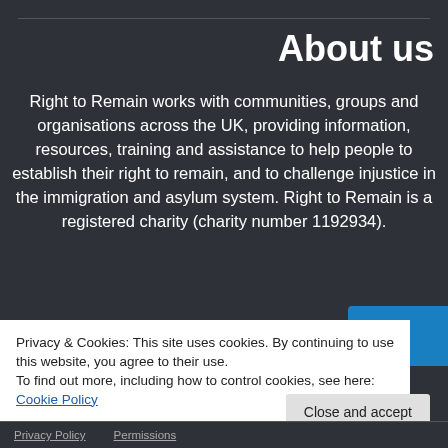About us
Right to Remain works with communities, groups and organisations across the UK, providing information, resources, training and assistance to help people to establish their right to remain, and to challenge injustice in the immigration and asylum system. Right to Remain is a registered charity (charity number 1192934).
Privacy & Cookies: This site uses cookies. By continuing to use this website, you agree to their use.
To find out more, including how to control cookies, see here: Cookie Policy
Close and accept
Privacy Policy    Permissions